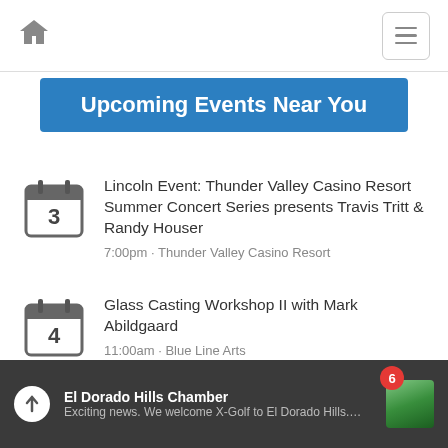Home | Menu
Upcoming Events Near You
Lincoln Event: Thunder Valley Casino Resort Summer Concert Series presents Travis Tritt & Randy Houser
7:00pm · Thunder Valley Casino Resort
Glass Casting Workshop II with Mark Abildgaard
11:00am · Blue Line Arts
Rocklin Event: Concerts at Quarry Park
El Dorado Hills Chamber — Exciting news. We welcome X-Golf to El Dorado Hills. #KeepItLocal365 …